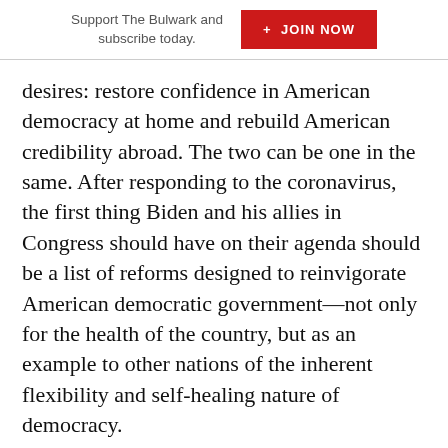Support The Bulwark and subscribe today.  + JOIN NOW
desires: restore confidence in American democracy at home and rebuild American credibility abroad. The two can be one in the same. After responding to the coronavirus, the first thing Biden and his allies in Congress should have on their agenda should be a list of reforms designed to reinvigorate American democratic government—not only for the health of the country, but as an example to other nations of the inherent flexibility and self-healing nature of democracy.
The first measure President Biden should pursue is a Presidential Accountability Act. Many